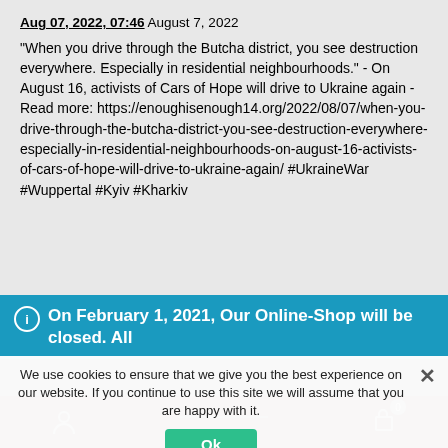Aug 07, 2022, 07:46 August 7, 2022
"When you drive through the Butcha district, you see destruction everywhere. Especially in residential neighbourhoods." - On August 16, activists of Cars of Hope will drive to Ukraine again - Read more: https://enoughisenough14.org/2022/08/07/when-you-drive-through-the-butcha-district-you-see-destruction-everywhere-especially-in-residential-neighbourhoods-on-august-16-activists-of-cars-of-hope-will-drive-to-ukraine-again/ #UkraineWar #Wuppertal #Kyiv #Kharkiv
On February 1, 2021, Our Online-Shop will be closed. All orders until January 31 will be delivered
We use cookies to ensure that we give you the best experience on our website. If you continue to use this site we will assume that you are happy with it.